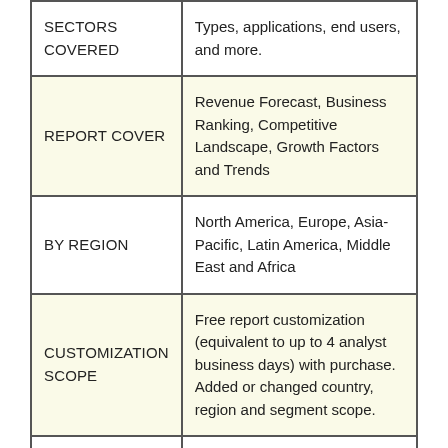|  |  |
| --- | --- |
| SECTORS COVERED | Types, applications, end users, and more. |
| REPORT COVER | Revenue Forecast, Business Ranking, Competitive Landscape, Growth Factors and Trends |
| BY REGION | North America, Europe, Asia-Pacific, Latin America, Middle East and Africa |
| CUSTOMIZATION SCOPE | Free report customization (equivalent to up to 4 analyst business days) with purchase. Added or changed country, region and segment scope. |